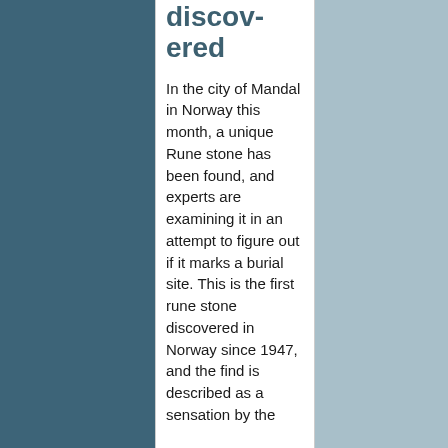discov­ered
In the city of Mandal in Norway this month, a unique Rune stone has been found, and experts are examining it in an attempt to figure out if it marks a burial site. This is the first rune stone discovered in Norway since 1947, and the find is described as a sensation by the